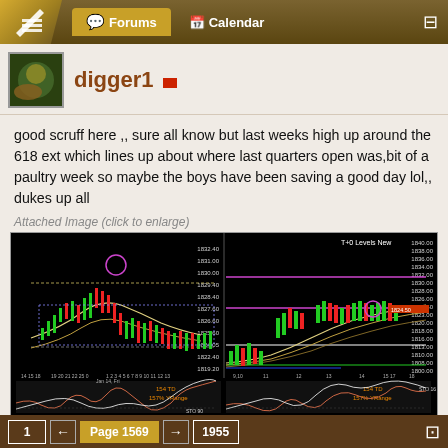Forums  Calendar
digger1
good scruff here ,, sure all know but last weeks high up around the 618 ext which lines up about where last quarters open was,bit of a paultry week so maybe the boys have been saving a good day lol,, dukes up all
Attached Image (click to enlarge)
[Figure (continuous-plot): Two side-by-side financial trading charts on black background showing candlestick price action with moving averages, horizontal support/resistance lines (purple, white, green), and stochastic oscillator indicators at the bottom. Left chart shows intraday data with price range ~1819-1832, right chart shows daily data with price range ~1800-1840. Both charts show T+0 levels and YRange labels.]
1  ←  Page 1569  →  1955